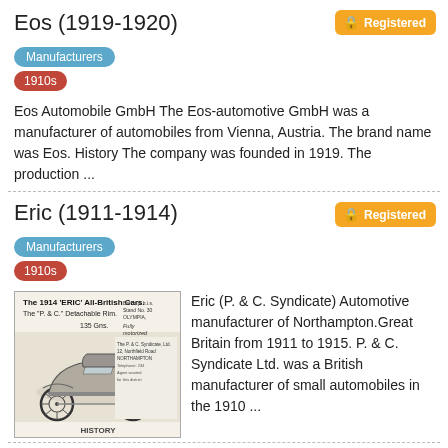Eos (1919-1920)
Registered
Manufacturers
1910s
Eos Automobile GmbH The Eos-automotive GmbH was a manufacturer of automobiles from Vienna, Austria. The brand name was Eos. History The company was founded in 1919. The production ...
Eric (1911-1914)
Registered
Manufacturers
1910s
[Figure (photo): Vintage advertisement image for the 1914 ERIC All-British Cars with car illustration and text including 'The P. & C. Detachable Rim.' and 'HISTORY']
Eric (P. & C. Syndicate) Automotive manufacturer of Northampton.Great Britain from 1911 to 1915. P. & C. Syndicate Ltd. was a British manufacturer of small automobiles in the 1910 ...
ESA (1917-1926)
Manufacturers
1910s